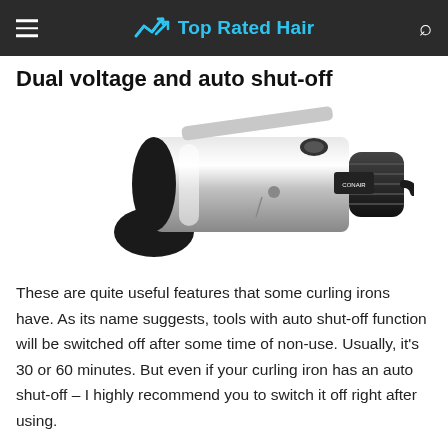Top Rated Hair
Dual voltage and auto shut-off
[Figure (photo): A chrome and black curling iron with clamp, set diagonally against a white background.]
These are quite useful features that some curling irons have. As its name suggests, tools with auto shut-off function will be switched off after some time of non-use. Usually, it's 30 or 60 minutes. But even if your curling iron has an auto shut-off – I highly recommend you to switch it off right after using.